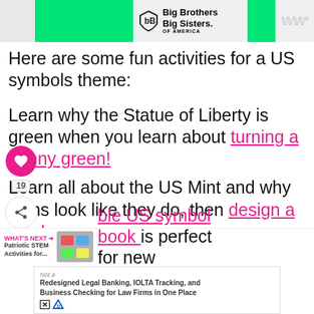[Figure (other): Top advertisement banner with green blocks and Big Brothers Big Sisters of America logo]
Here are some fun activities for a US symbols theme:
Learn why the Statue of Liberty is green when you learn about turning a penny green!
Learn all about the US Mint and why coins look like they do, then design a coin!
...ble US symbol book is perfect for new readers.
[Figure (other): Bottom advertisement banner: Not a Redesigned Legal Banking, IOLTA Tracking, and Business Checking for Law Firms in One Place]